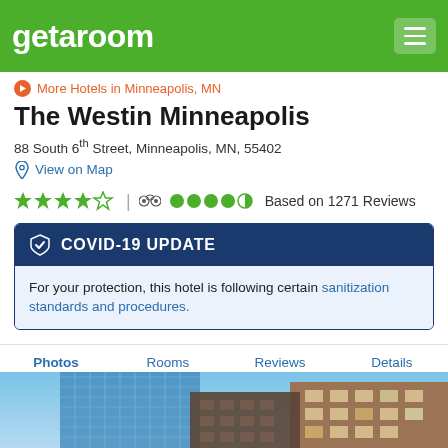getaroom
More Hotels in Minneapolis, MN
The Westin Minneapolis
88 South 6th Street, Minneapolis, MN, 55402
View on Map
Based on 1271 Reviews
COVID-19 UPDATE
For your protection, this hotel is following certain sanitization standards and procedures.
Photos  Rooms  Reviews  Details
[Figure (photo): Exterior photo of The Westin Minneapolis showing glass skyscraper and brick building against blue sky]